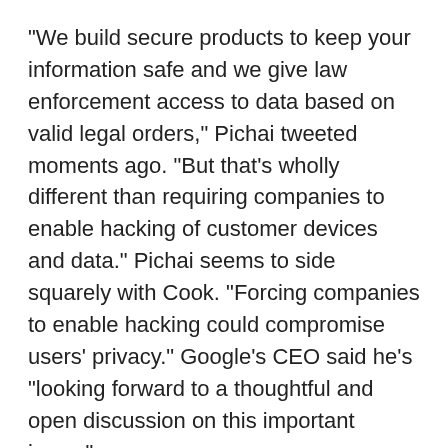"We build secure products to keep your information safe and we give law enforcement access to data based on valid legal orders," Pichai tweeted moments ago. "But that's wholly different than requiring companies to enable hacking of customer devices and data." Pichai seems to side squarely with Cook. "Forcing companies to enable hacking could compromise users' privacy." Google's CEO said he's "looking forward to a thoughtful and open discussion on this important issue."
That echoes the words of Cook, who in his letter wrote "This moment calls for public discussion, and we want our customers and people around the country to understand what is at stake." At this point